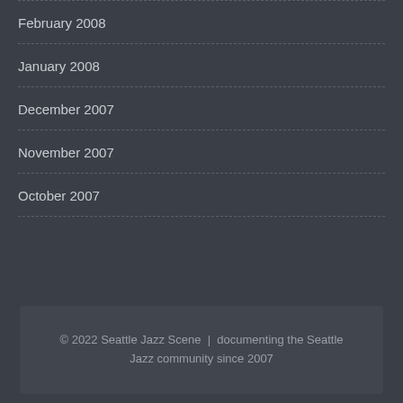February 2008
January 2008
December 2007
November 2007
October 2007
© 2022 Seattle Jazz Scene  |  documenting the Seattle Jazz community since 2007